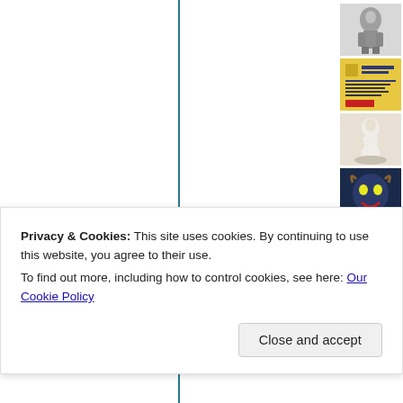[Figure (screenshot): Website page layout with vertical teal column divider lines on a white background, showing a multi-column layout. Right side has a vertical strip of thumbnail images: (1) grayscale statue/figurine, (2) yellow flyer/document, (3) white Buddha/meditation statue, (4) dark mythological creature/mask, (5) row of golden statues, (6) blue sky with statue/sculpture.]
Privacy & Cookies: This site uses cookies. By continuing to use this website, you agree to their use.
To find out more, including how to control cookies, see here: Our Cookie Policy